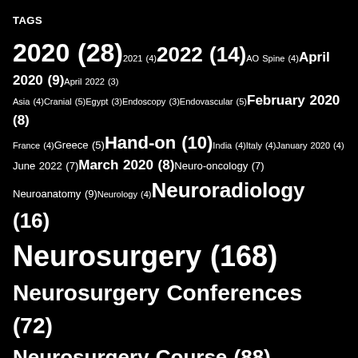TAGS
2020 (28) 2021 (4) 2022 (14) AO Spine (4) April 2020 (9) April 2022 (3) Asia (4) Cranial (5) Egypt (3) Endoscopy (3) Endovascular (5) February 2020 (8) France (4) Greece (5) Hand-on (10) India (4) Italy (4) January 2020 (4) June 2022 (7) March 2020 (8) Neuro-oncology (7) Neuroanatomy (9) Neurology (4) Neuroradiology (16) Neurosurgery (168) Neurosurgery Conferences (72) Neurosurgery Course (88) Neurotrauma (7) neurovascular (22) North America (4) Orthopedic (31) Pakistan (3) Pediatric Neurology (11) Pediatric Neurosurgery (9) Radiology (16) Saudi Arabia (5) Skull Base (29) spine (6) Spine Conference (32) Spine Surgery (37) Turkey (5) United Kingdom (4) USA (10) virtual meeting (17) Workshop (14)